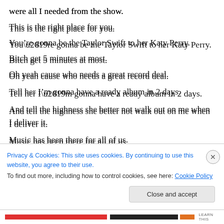were all I needed from the show.
This is the right place for you.
You’re gonna be the Taylor Swift to her Katy Perry.
Bitch get 5 minutes at most.
Oh yeah cause who needs a great record deal.
Tell her I’m gonna have a ready album in 2 days.
And tell the highness she better not walk out on me when I deliver it.
Music has been there for all of us.
Let’s take this time we’ve wasted.
Privacy & Cookies: This site uses cookies. By continuing to use this website, you agree to their use. To find out more, including how to control cookies, see here: Cookie Policy